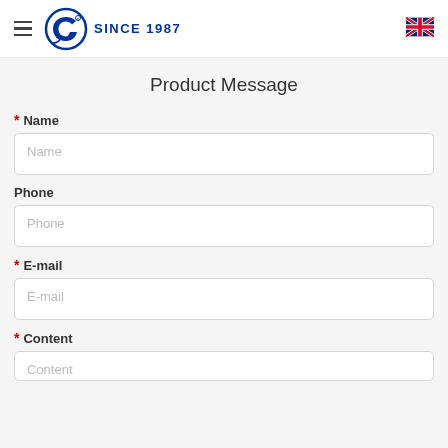≡ [logo] SINCE 1987 [UK flag]
Product Message
* Name
Phone
* E-mail
* Content